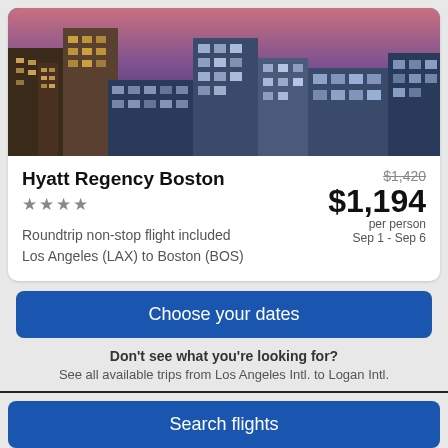[Figure (photo): Aerial/skyline view of Boston city buildings at dusk/night with illuminated windows]
Hyatt Regency Boston
★★★★
$1,420 (crossed out) $1,194 per person Sep 1 - Sep 6
Roundtrip non-stop flight included
Los Angeles (LAX) to Boston (BOS)
Choose your dates
Don't see what you're looking for?
See all available trips from Los Angeles Intl. to Logan Intl.
View all trips
Search flights